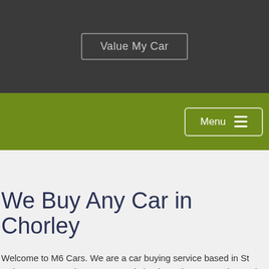[Figure (screenshot): Website header with dark background containing 'Value My Car' button]
[Figure (screenshot): Green navigation bar with Menu button and hamburger icon on the right]
We Buy Any Car in Chorley
Welcome to M6 Cars. We are a car buying service based in St Helens near Manchester. Our main business is car sourcing and also car buying, the main car sourcing areas that we operate in are St Helens, Warrington, Widnes , Runcorn , Wirral, Manchester, Bury, Bolton, Preston, Liverpool, Prescot, Southport, Ormskirk and Stockport.